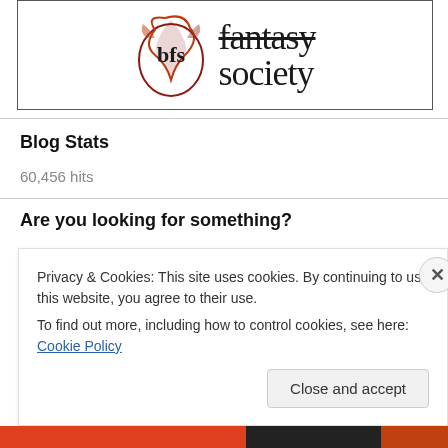[Figure (logo): British Fantasy Society logo: dragon/bfs circular icon on left, 'fantasy society' text on right with 'fantasy' struck through, inside a rectangular border]
Blog Stats
60,456 hits
Are you looking for something?
Privacy & Cookies: This site uses cookies. By continuing to use this website, you agree to their use.
To find out more, including how to control cookies, see here: Cookie Policy